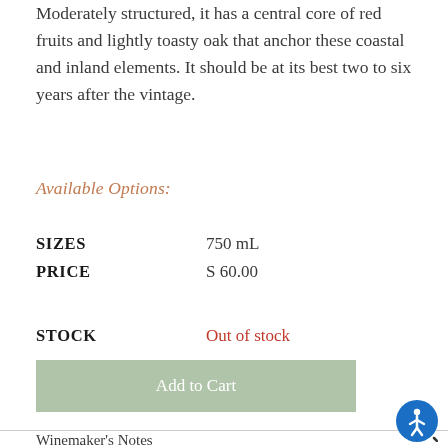Moderately structured, it has a central core of red fruits and lightly toasty oak that anchor these coastal and inland elements. It should be at its best two to six years after the vintage.
Available Options:
| SIZES | 750 mL |
| PRICE | S 60.00 |
| STOCK | Out of stock |
Add to Cart
Winemaker's Notes